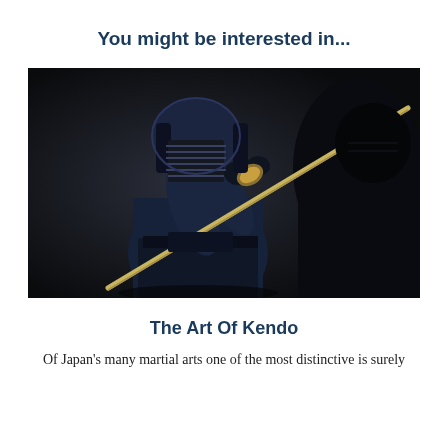You might be interested in...
[Figure (photo): Two kendo practitioners in dark uniforms and traditional men (helmet) facing each other with shinai (bamboo swords) crossed, on a dark background. One practitioner is clearly visible in the center with a protective striped face mask.]
The Art Of Kendo
Of Japan's many martial arts one of the most distinctive is surely